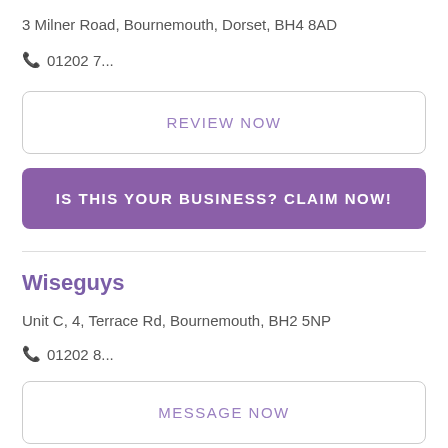3 Milner Road, Bournemouth, Dorset, BH4 8AD
📞 01202 7...
REVIEW NOW
IS THIS YOUR BUSINESS? CLAIM NOW!
Wiseguys
Unit C, 4, Terrace Rd, Bournemouth, BH2 5NP
📞 01202 8...
MESSAGE NOW